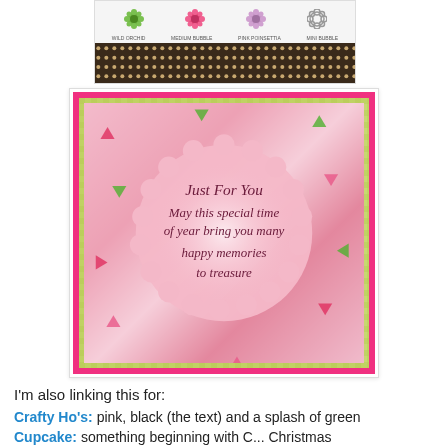[Figure (photo): Craft supply image showing colored flower embellishments (green, pink, lavender, outline) with labels and a dark grid of decorative dots/brads below]
[Figure (photo): Handmade greeting card with pink border, lime green gingham background, floral patterned paper, and a large pink scallop-edged circle with italic verse: 'Just For You / May this special time / of year bring you many / happy memories / to treasure']
I'm also linking this for:
Crafty Ho's: pink, black (the text) and a splash of green
Cupcake: something beginning with C... Christmas